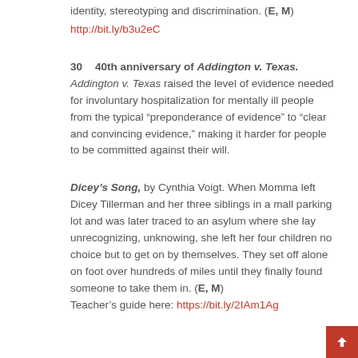identity, stereotyping and discrimination. (E, M)
http://bit.ly/b3u2eC
30   40th anniversary of Addington v. Texas. Addington v. Texas raised the level of evidence needed for involuntary hospitalization for mentally ill people from the typical “preponderance of evidence” to “clear and convincing evidence,” making it harder for people to be committed against their will.
Dicey’s Song, by Cynthia Voigt. When Momma left Dicey Tillerman and her three siblings in a mall parking lot and was later traced to an asylum where she lay unrecognizing, unknowing, she left her four children no choice but to get on by themselves. They set off alone on foot over hundreds of miles until they finally found someone to take them in. (E, M) Teacher’s guide here: https://bit.ly/2IAm1Ag